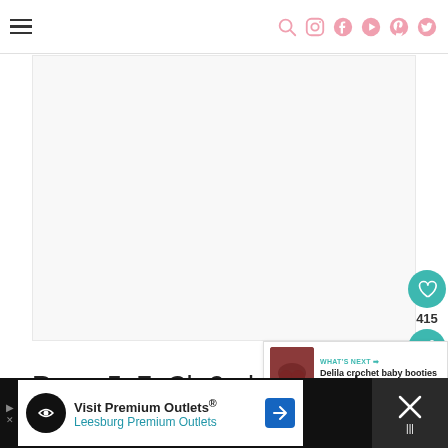Navigation header with hamburger menu and social icons (search, instagram, facebook, youtube, pinterest, twitter)
[Figure (photo): Large blank/white image area — main content photo placeholder]
415
WHAT'S NEXT → Delila crochet baby booties
Rows 5–7: Ch 2, dc around.
Visit Premium Outlets® Leesburg Premium Outlets